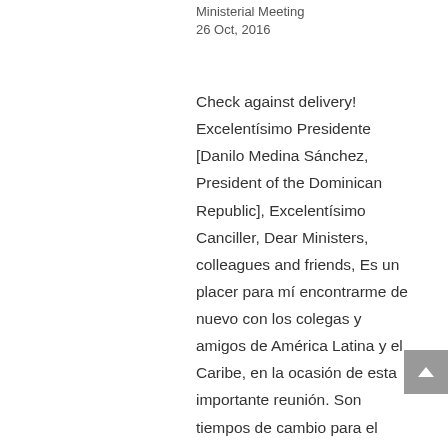Ministerial Meeting
26 Oct, 2016
Check against delivery! Excelentísimo Presidente [Danilo Medina Sánchez, President of the Dominican Republic], Excelentísimo Canciller, Dear Ministers, colleagues and friends, Es un placer para mí encontrarme de nuevo con los colegas y amigos de América Latina y el Caribe, en la ocasión de esta importante reunión. Son tiempos de cambio para el continente. Tiempos en los que las antiguas líneas divisorias –